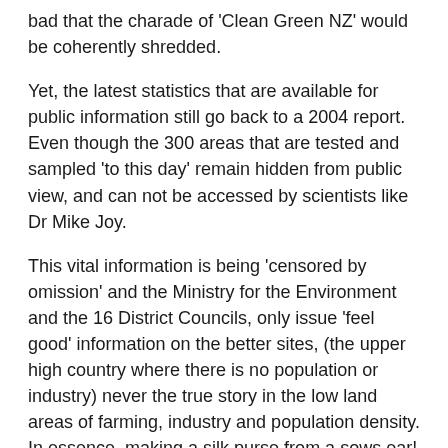bad that the charade of 'Clean Green NZ' would be coherently shredded.
Yet, the latest statistics that are available for public information still go back to a 2004 report. Even though the 300 areas that are tested and sampled 'to this day' remain hidden from public view, and can not be accessed by scientists like Dr Mike Joy.
This vital information is being 'censored by omission' and the Ministry for the Environment and the 16 District Councils, only issue 'feel good' information on the better sites, (the upper high country where there is no population or industry) never the true story in the low land areas of farming, industry and population density. In essence, making a silk purse from a sows ear!
New Zealand has pristine highland lakes and rivers, which the tourist brochures revel in, but it is the low land lakes and rivers